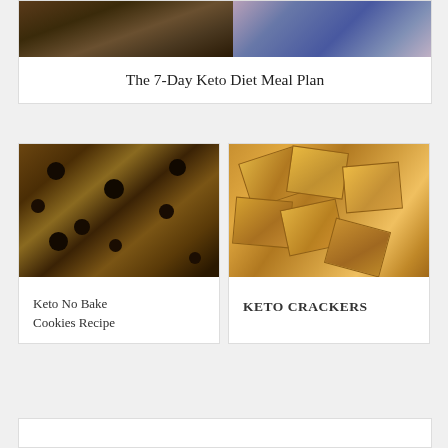[Figure (photo): Top card with two photos: left shows food with chocolate/dark swirls, right shows a person in a blue patterned dress]
The 7-Day Keto Diet Meal Plan
[Figure (photo): Keto no bake cookies with chocolate chips and pecans on a baking sheet]
Keto No Bake Cookies Recipe
[Figure (photo): Golden keto crackers piled together on a light background]
KETO CRACKERS